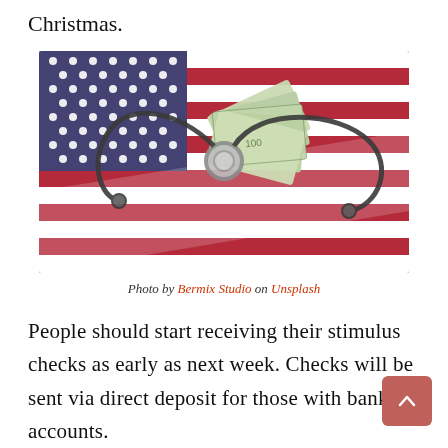Christmas.
[Figure (photo): An American flag with a stethoscope and fanned-out US $100 bills placed on top of it.]
Photo by Bermix Studio on Unsplash
People should start receiving their stimulus checks as early as next week. Checks will be sent via direct deposit for those with bank accounts.